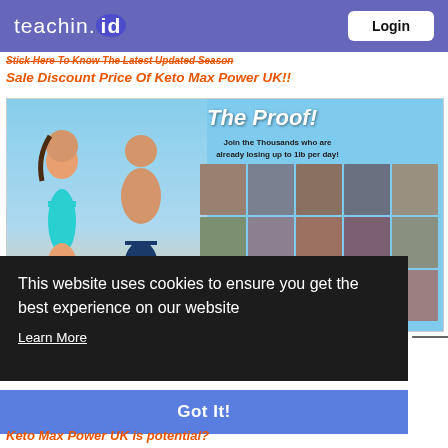teachin.id  Login
Stick Here To Know The Latest Updated Season Sale Discount Price Of Keto Max Power UK!!
[Figure (photo): Promotional image showing a man and woman in swimwear on a beach, alongside 'The Proof!' text and a grid of before/after body transformation photos. Text reads: Join the Thousands who are already losing up to 1lb per day!]
This website uses cookies to ensure you get the best experience on our website
Learn More
Got It!
Keto Max Power UK is potential?